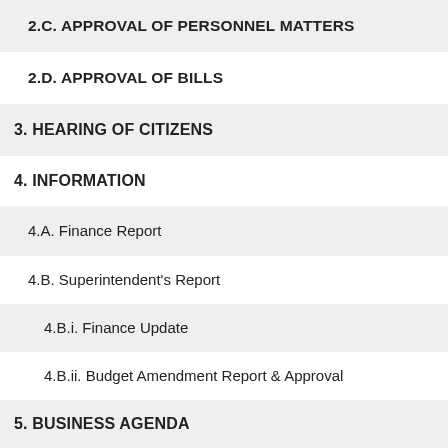2.C. APPROVAL OF PERSONNEL MATTERS
2.D. APPROVAL OF BILLS
3. HEARING OF CITIZENS
4. INFORMATION
4.A. Finance Report
4.B. Superintendent's Report
4.B.i. Finance Update
4.B.ii. Budget Amendment Report & Approval
5. BUSINESS AGENDA